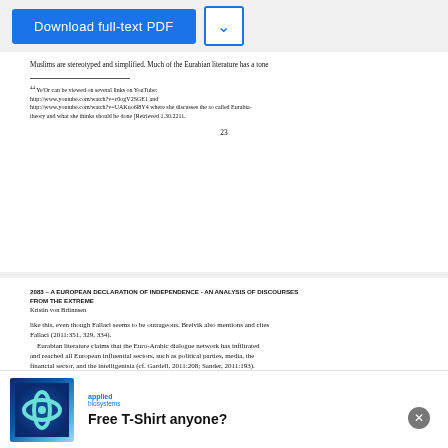[Figure (screenshot): Download full-text PDF button and dropdown arrow button on blue/white background]
Muslims are stereotyped and simplified. Much of the Eurabian literature has a tone
44 Ye'Or can be viewed on several links on YouTube: http://www.youtube.com/watch?v=c0ogV2SGE1 and http://www.youtube.com/watch?v=UAKuo6l8Y4 where she discusses the so called Eurabia-theory and what she thinks should be done [Retrieved 1.30.2211.
23
2083 – A EUROPEAN DECLARATION OF INDEPENDENCE - AN ANALYSIS OF DISCOURSES FROM THE EXTREME
Kristin von Briinnsen
like this, even though Fallaci seems to be outrageous. Breivik also mentions and cites Fallaci (2011:351, 329, 334).
    Eurabian literature claims that the Euro-Arabic dialogue network has infiltrated and reached all European influential sectors, such as political parties, media, the financial sector, and the intelligentsia (cf. Gardell, 2011:208; Sander, 2011:193).
[Figure (logo): Applied Biosystems infinity loop logo and company branding with Free T-Shirt anyone? advertisement]